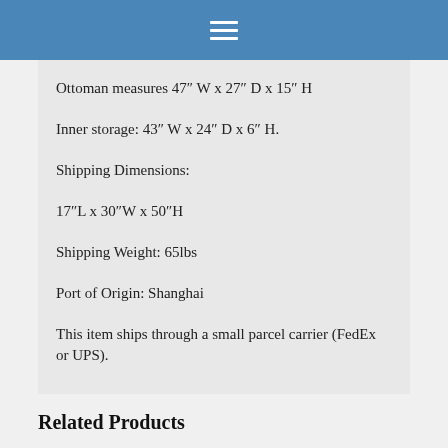Ottoman measures 47" W x 27" D x 15" H
Inner storage: 43″ W x 24″ D x 6″ H.
Shipping Dimensions:
17”L x 30”W x 50”H
Shipping Weight: 65lbs
Port of Origin: Shanghai
This item ships through a small parcel carrier (FedEx or UPS).
Related Products